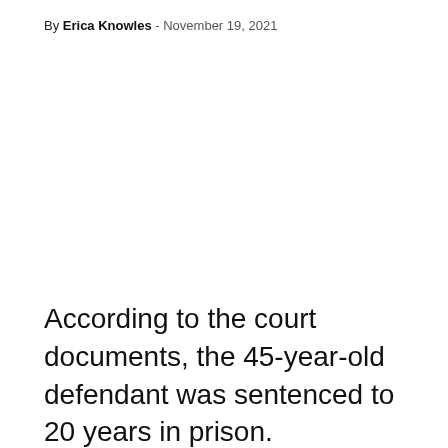By Erica Knowles - November 19, 2021
According to the court documents, the 45-year-old defendant was sentenced to 20 years in prison. Prosecutors said the woman pleaded guilty to posing as an attorney and looting an autistic man's $2 million trust fund. She allegedly used the stolen money for vacations, hosting parties, and buying